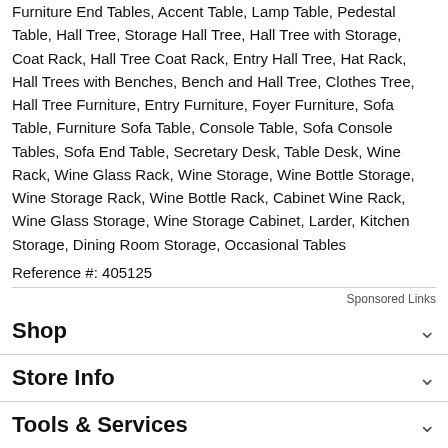Furniture End Tables, Accent Table, Lamp Table, Pedestal Table, Hall Tree, Storage Hall Tree, Hall Tree with Storage, Coat Rack, Hall Tree Coat Rack, Entry Hall Tree, Hat Rack, Hall Trees with Benches, Bench and Hall Tree, Clothes Tree, Hall Tree Furniture, Entry Furniture, Foyer Furniture, Sofa Table, Furniture Sofa Table, Console Table, Sofa Console Tables, Sofa End Table, Secretary Desk, Table Desk, Wine Rack, Wine Glass Rack, Wine Storage, Wine Bottle Storage, Wine Storage Rack, Wine Bottle Rack, Cabinet Wine Rack, Wine Glass Storage, Wine Storage Cabinet, Larder, Kitchen Storage, Dining Room Storage, Occasional Tables
Reference #: 405125
Sponsored Links
Shop
Store Info
Tools & Services
Store Location
Janeen's Furniture Gallery